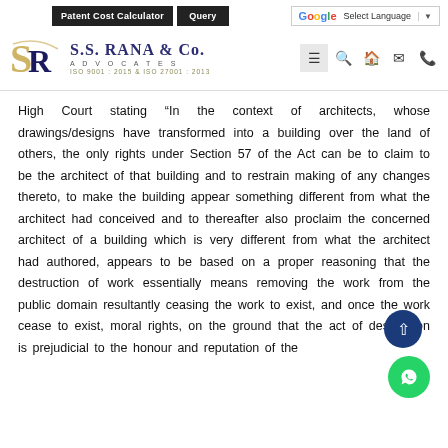Patent Cost Calculator | Query | G Select Language | S.S. RANA & CO. ADVOCATES ISO 9001 : 2015 & ISO 27001 : 2013
High Court stating “In the context of architects, whose drawings/designs have transformed into a building over the land of others, the only rights under Section 57 of the Act can be to claim to be the architect of that building and to restrain making of any changes thereto, to make the building appear something different from what the architect had conceived and to thereafter also proclaim the concerned architect of a building which is very different from what the architect had authored, appears to be based on a proper reasoning that the destruction of work essentially means removing the work from the public domain resultantly ceasing the work to exist, and once the work cease to exist, moral rights, on the ground that the act of destruction is prejudicial to the honour and reputation of the